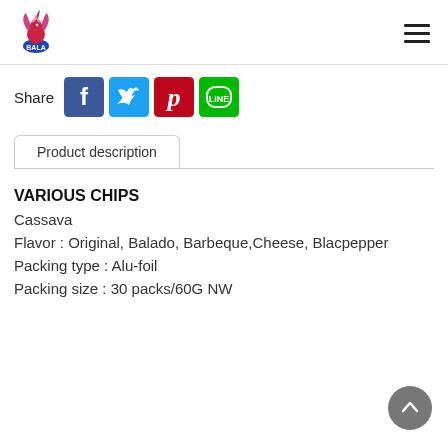BALA logo and hamburger menu
Share
[Figure (logo): Social share icons: Facebook, Twitter, Pinterest, LINE]
Product description
VARIOUS CHIPS
Cassava
Flavor : Original, Balado, Barbeque,Cheese, Blacpepper
Packing type : Alu-foil
Packing size : 30 packs/60G NW